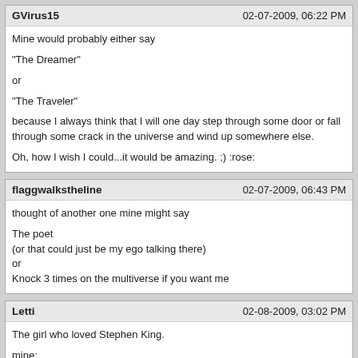GVirus15 | 02-07-2009, 06:22 PM
Mine would probably either say
"The Dreamer"
or
"The Traveler"
because I always think that I will one day step through some door or fall through some crack in the universe and wind up somewhere else.
Oh, how I wish I could...it would be amazing. ;) :rose:
flaggwalkstheline | 02-07-2009, 06:43 PM
thought of another one mine might say
The poet
(or that could just be my ego talking there)
or
Knock 3 times on the multiverse if you want me
Letti | 02-08-2009, 03:02 PM
The girl who loved Stephen King.
mine:
The girl who loved the girl who loved Stephen King. ;)
MonteGss | 02-08-2009, 04:59 PM